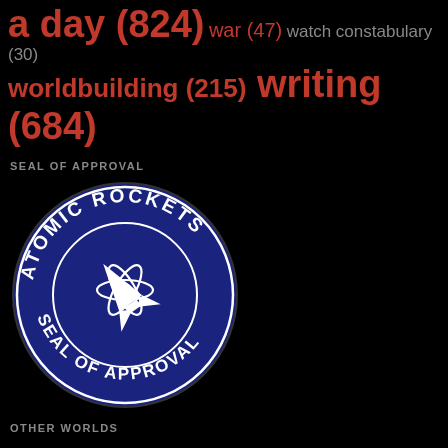a day (824) war (47) watch constabulary (30)
worldbuilding (215) writing (684)
SEAL OF APPROVAL
[Figure (logo): Atomic Rockets Seal of Approval badge — circular dark blue seal with white text reading 'ATOMIC ROCKETS' along the top arc and 'SEAL OF APPROVAL' along the bottom arc, with a white rocket and atom symbol in the center]
OTHER WORLDS
Equestriaverse
Nanofic~Sci~Fi
Orion's Arm Universe Project
The Beachstarter